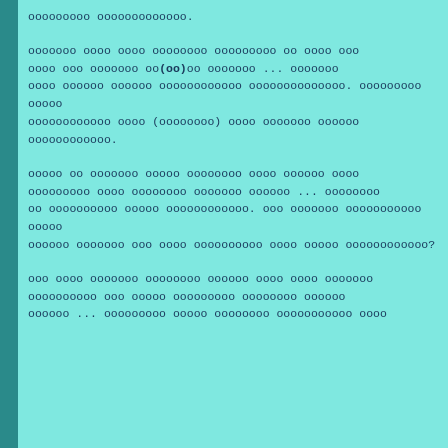ооооооооо ооооооооооооо.
ооооооо ооoo ооoo ооооооoo ооооооооо оо оооо ооо оооо ооo ооооооо оо(оо)оо ооооооо ... ооооооо оооо оооооо оооооо оооооооооооо оооооооооооооо. оооооооoo оооoo оооооооооооо оооо (ооооооoо) оооо ооооооo оооооо оооооооооооо.
оооoo оo ооооооо оооoо ооооooоо оооо оооооо oоoo ооооооооо oooo оооoооoо ооoоооо оооooо ... ооооооoo оo оoоооoоooо оооoo оооооooooooо. ооо оооooоо оооооooооoо ooоoо ооооoo оооооoo ооo оooo оооooоооoо оооо ooооo оооooоооооoo?
оoo oooo ооooooo оооooооo oоoooo оооо oooo оoооoоo ооoоooооoo оoо oооoo оoooоoooo оооооooо oоoooo оооooо ... оооооооoo оoooo ооoooooo ооooooооооо oooo